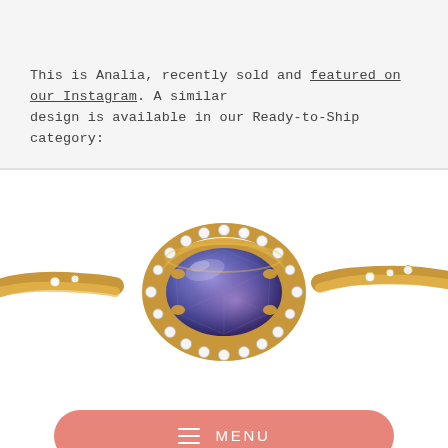This is Analia, recently sold and featured on our Instagram. A similar design is available in our Ready-to-Ship category:
[Figure (photo): Close-up photograph of a gold halo engagement ring with an oval purple/violet sapphire center stone surrounded by a halo of round white diamonds, set on a gold band with additional diamond accents on the shoulders.]
MENU